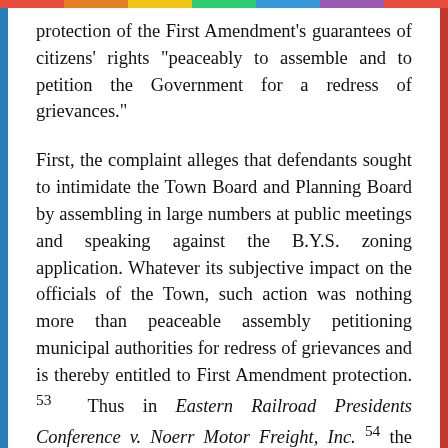protection of the First Amendment's guarantees of citizens' rights "peaceably to assemble and to petition the Government for a redress of grievances."
First, the complaint alleges that defendants sought to intimidate the Town Board and Planning Board by assembling in large numbers at public meetings and speaking against the B.Y.S. zoning application. Whatever its subjective impact on the officials of the Town, such action was nothing more than peaceable assembly petitioning municipal authorities for redress of grievances and is thereby entitled to First Amendment protection. 53 Thus in Eastern Railroad Presidents Conference v. Noerr Motor Freight, Inc. 54 the Supreme Court held that the right to petition governmental bodies that make and enforce the law is central to our representative democracy, because "these branches of the government act on behalf of the